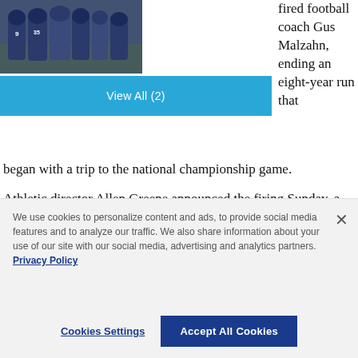[Figure (photo): Football players in navy blue uniforms, including players numbered 9 and 35, gathered together on field]
View All (2)
fired football coach Gus Malzahn, ending an eight-year run that began with a trip to the national championship game.
Athletic director Allen Greene announced the firing Sunday, a day after the Tigers finished the regular season with a 24-10 victory over Mississippi State
We use cookies to personalize content and ads, to provide social media features and to analyze our traffic. We also share information about your use of our site with our social media, advertising and analytics partners. Privacy Policy
Cookies Settings
Accept All Cookies